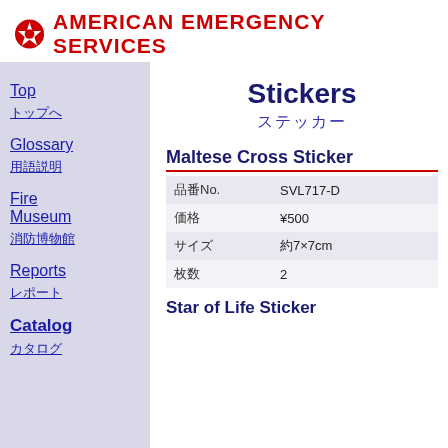AMERICAN EMERGENCY SERVICES
Stickers
ステッカー
Maltese Cross Sticker
|  |  |
| --- | --- |
| 品番No. | SVL717-D |
| 価格 | ¥500 |
| サイズ | 約7×7cm |
| 枚数 | 2 |
Star of Life Sticker